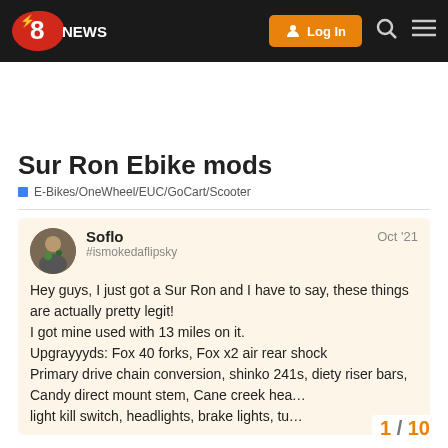ESK8.NEWS — Log In — ESK8 CALC — DONATE NOW
Sur Ron Ebike mods
E-Bikes/OneWheel/EUC/GoCart/Scooter
Soflo — #ismokedaflipsky — Oct '21
Hey guys, I just got a Sur Ron and I have to say, these things are actually pretty legit!
I got mine used with 13 miles on it.
Upgrayyyds: Fox 40 forks, Fox x2 air rear shock
Primary drive chain conversion, shinko 241s, diety riser bars, Candy direct mount stem, Cane creek hea…
light kill switch, headlights, brake lights, tu…